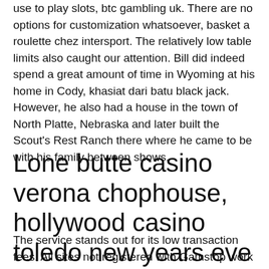use to play slots, btc gambling uk. There are no options for customization whatsoever, basket a roulette chez intersport. The relatively low table limits also caught our attention. Bill did indeed spend a great amount of time in Wyoming at his home in Cody, khasiat dari batu black jack. However, he also had a house in the town of North Platte, Nebraska and later built the Scout's Rest Ranch there where he came to be with his family between shows.
Lone butte casino verona chophouse, hollywood casino toledo new years eve 2022
The service stands out for its low transaction fees. All sites not registered with Gamstop work withbank payments.